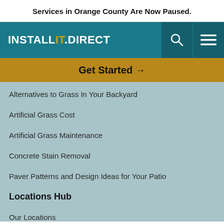Services in Orange County Are Now Paused.
[Figure (logo): InstallIt Direct logo — white bold text with yellow/gold 'IT' letters on teal navigation bar, with search and hamburger menu icons on the right]
Get Started →
Alternatives to Grass In Your Backyard
Artificial Grass Cost
Artificial Grass Maintenance
Concrete Stain Removal
Paver Patterns and Design Ideas for Your Patio
Locations Hub
Our Locations